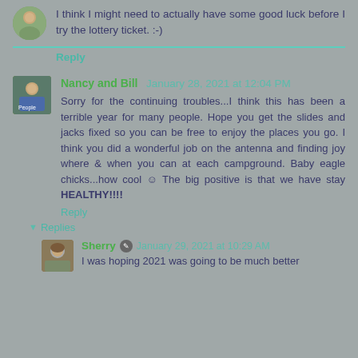I think I might need to actually have some good luck before I try the lottery ticket. :-)
Reply
Nancy and Bill  January 28, 2021 at 12:04 PM
Sorry for the continuing troubles...I think this has been a terrible year for many people. Hope you get the slides and jacks fixed so you can be free to enjoy the places you go. I think you did a wonderful job on the antenna and finding joy where & when you can at each campground. Baby eagle chicks...how cool ☺ The big positive is that we have stay HEALTHY!!!!
Reply
Replies
Sherry  January 29, 2021 at 10:29 AM
I was hoping 2021 was going to be much better